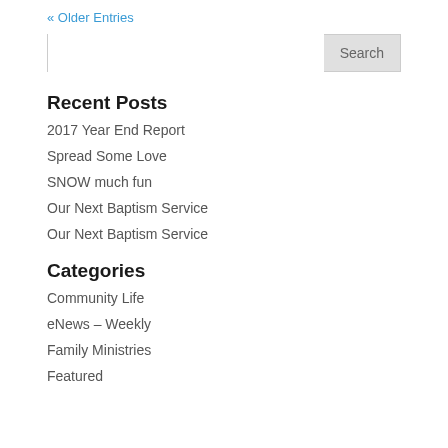« Older Entries
Search
Recent Posts
2017 Year End Report
Spread Some Love
SNOW much fun
Our Next Baptism Service
Our Next Baptism Service
Categories
Community Life
eNews – Weekly
Family Ministries
Featured